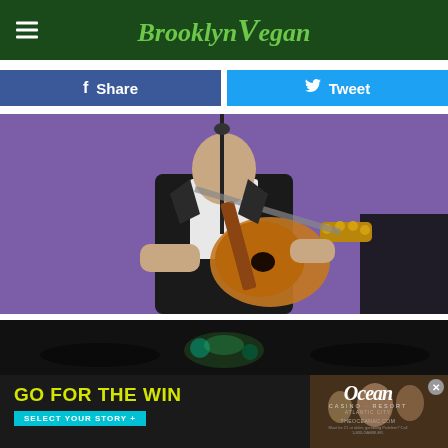BrooklynVegan
[Figure (photo): Person playing acoustic guitar on stage with purple background, wearing dark jacket]
[Figure (photo): Partial dark photo strip showing venue/crowd scene]
[Figure (photo): Ocean Casino Resort advertisement - GO FOR THE WIN - SELECT YOUR STORY +]